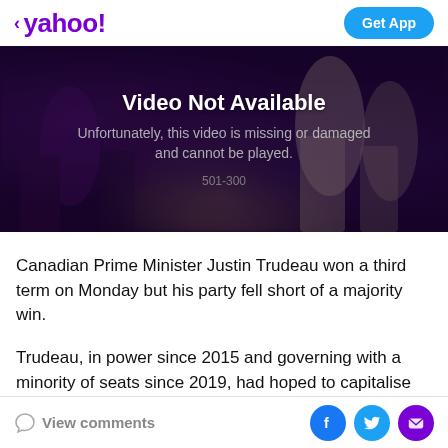< yahoo!   Get App
[Figure (screenshot): Video Not Available error screen with dark background showing crowd. Text reads: 'Video Not Available', 'Unfortunately, this video is missing or damaged and cannot be played.', error code '501-300']
Canadian Prime Minister Justin Trudeau won a third term on Monday but his party fell short of a majority win.
Trudeau, in power since 2015 and governing with a minority of seats since 2019, had hoped to capitalise on his government's handling of the pandemic by calling an
View comments